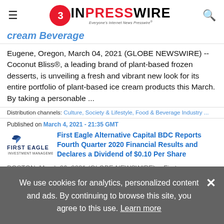EIN PRESSWIRE — Everyone's Internet News Presswire
cream Beverage
Eugene, Oregon, March 04, 2021 (GLOBE NEWSWIRE) -- Coconut Bliss®, a leading brand of plant-based frozen desserts, is unveiling a fresh and vibrant new look for its entire portfolio of plant-based ice cream products this March. By taking a personable ...
Distribution channels: Culture, Society & Lifestyle, Food & Beverage Industry ...
Published on March 4, 2021 - 21:35 GMT
[Figure (logo): First Eagle Investment Management logo with bird icon]
First Eagle Alternative Capital BDC Reports Fourth Quarter 2020 Financial Results and Declares a Dividend of $0.10 Per Share
BOSTON, March 06, 2021 (GLOBE NEWSWIRE) -- First
We use cookies for analytics, personalized content and ads. By continuing to browse this site, you agree to this use. Learn more